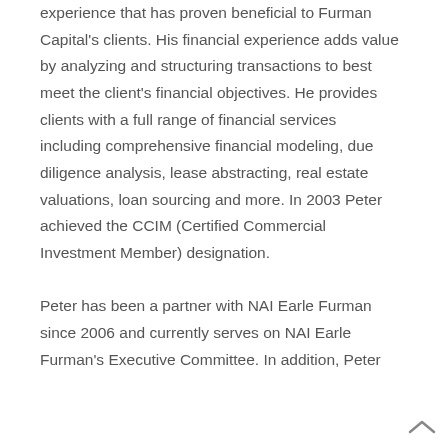experience that has proven beneficial to Furman Capital's clients. His financial experience adds value by analyzing and structuring transactions to best meet the client's financial objectives. He provides clients with a full range of financial services including comprehensive financial modeling, due diligence analysis, lease abstracting, real estate valuations, loan sourcing and more. In 2003 Peter achieved the CCIM (Certified Commercial Investment Member) designation.

Peter has been a partner with NAI Earle Furman since 2006 and currently serves on NAI Earle Furman's Executive Committee. In addition, Peter